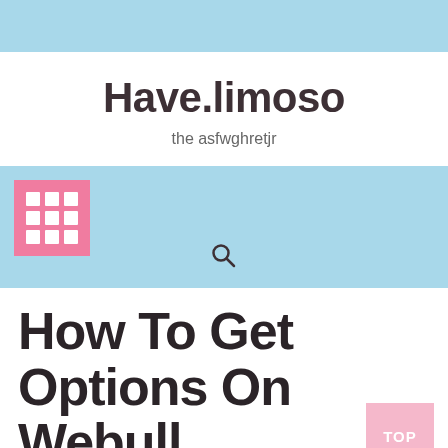Have.limoso
the asfwghretjr
[Figure (other): Pink grid/menu icon on light blue navigation bar with search icon below]
How To Get Options On Webull